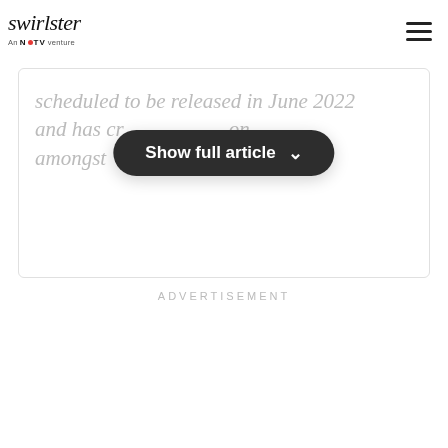swirlster — An NDTV venture
scheduled to be released in June 2022 and has cr... ...on amongst ... ...rs many...
[Figure (screenshot): Show full article button — dark rounded pill-shaped button with chevron]
ADVERTISEMENT